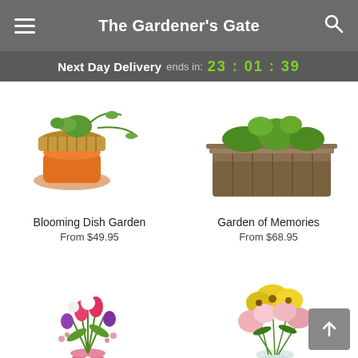The Gardener's Gate
Next Day Delivery ends in: 23:01:39
[Figure (photo): Blooming dish garden with wicker basket and orange pot with green trailing plants]
Blooming Dish Garden
From $49.95
[Figure (photo): Garden of Memories arrangement in a rustic wooden rectangular planter]
Garden of Memories
From $68.95
[Figure (photo): Colorful mixed tulip bouquet in pink vase with white ribbon]
[Figure (photo): Rainbow alstroemeria bouquet in clear round vase with yellow and pink flowers]